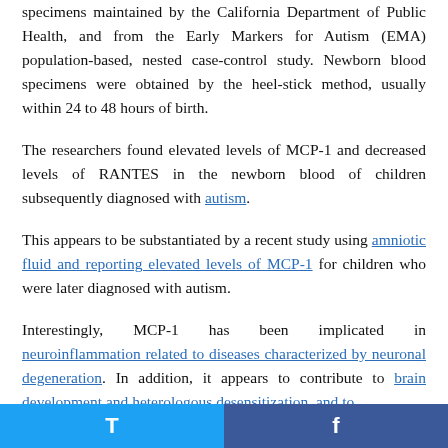specimens maintained by the California Department of Public Health, and from the Early Markers for Autism (EMA) population-based, nested case-control study. Newborn blood specimens were obtained by the heel-stick method, usually within 24 to 48 hours of birth.
The researchers found elevated levels of MCP-1 and decreased levels of RANTES in the newborn blood of children subsequently diagnosed with autism.
This appears to be substantiated by a recent study using amniotic fluid and reporting elevated levels of MCP-1 for children who were later diagnosed with autism.
Interestingly, MCP-1 has been implicated in neuroinflammation related to diseases characterized by neuronal degeneration. In addition, it appears to contribute to brain development and heterologous desensitization, and to influence...
Twitter | Facebook